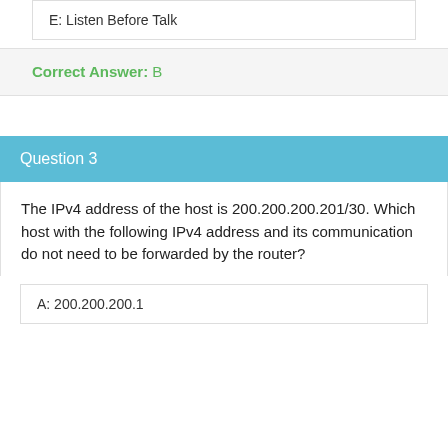E: Listen Before Talk
Correct Answer: B
Question 3
The IPv4 address of the host is 200.200.200.201/30. Which host with the following IPv4 address and its communication do not need to be forwarded by the router?
A: 200.200.200.1